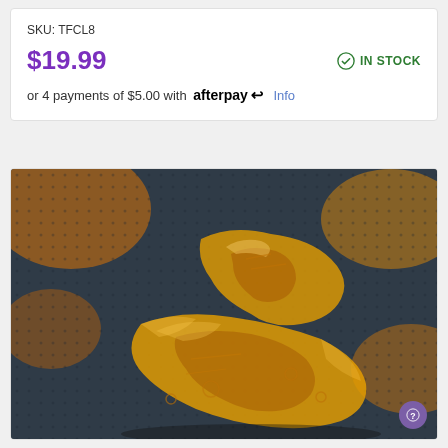SKU: TFCL8
$19.99
IN STOCK
or 4 payments of $5.00 with afterpay Info
[Figure (photo): Close-up photo of transparent amber/orange colored plastic toy or figurine parts (possibly a dinosaur or creature) on a dark textured background with orange blurred elements]